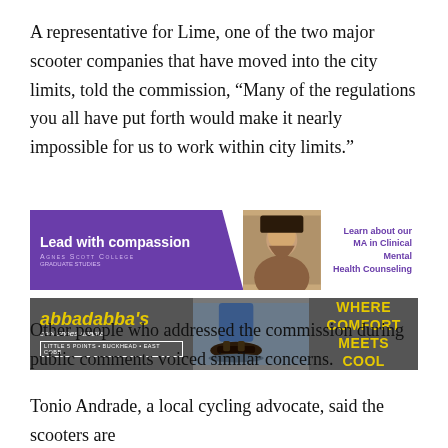A representative for Lime, one of the two major scooter companies that have moved into the city limits, told the commission, “Many of the regulations you all have put forth would make it nearly impossible for us to work within city limits.”
[Figure (illustration): Agnes Scott College advertisement: purple background on left with text 'Lead with compassion' and college name, photo of woman in center, text on right 'Learn about our MA in Clinical Mental Health Counseling']
[Figure (illustration): Abbadabba's cool shoes atlanta advertisement: gray background with yellow brand text, photo of sandals, text 'WHERE COMFORT MEETS COOL']
Other people who addressed the commission during public comments voiced similar concerns.
Tonio Andrade, a local cycling advocate, said the scooters are